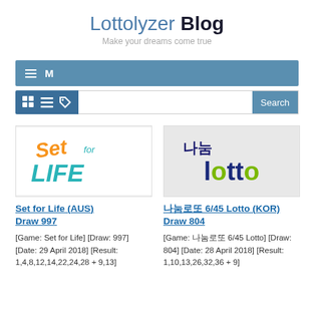Lottolyzer Blog — Make your dreams come true
[Figure (screenshot): Navigation bar with hamburger menu icon and M label]
[Figure (screenshot): Toolbar with grid, list, tag icons and a search input box with Search button]
[Figure (logo): Set for Life lottery logo with colourful text on white background]
Set for Life (AUS) Draw 997
[Game: Set for Life] [Draw: 997] [Date: 29 April 2018] [Result: 1,4,8,12,14,22,24,28 + 9,13]
[Figure (logo): 나눔 Lotto Korean lottery logo with dark blue and green text on light grey background]
나눔로또 6/45 Lotto (KOR) Draw 804
[Game: 나눔로또 6/45 Lotto] [Draw: 804] [Date: 28 April 2018] [Result: 1,10,13,26,32,36 + 9]